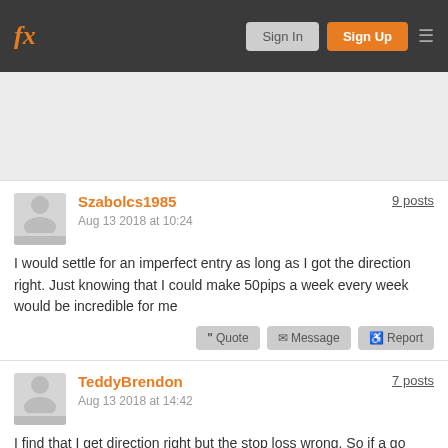fx | Sign In | Sign Up
[Figure (other): Advertisement banner area]
Szabolcs1985
Aug 13 2018 at 10:24
9 posts
I would settle for an imperfect entry as long as I got the direction right. Just knowing that I could make 50pips a week every week would be incredible for me
TeddyBrendon
Aug 13 2018 at 14:42
7 posts
I find that I get direction right but the stop loss wrong. So if a go Long with a stop loss of 20 pips the price will fall 25 pips and then reverse and head upwards :(